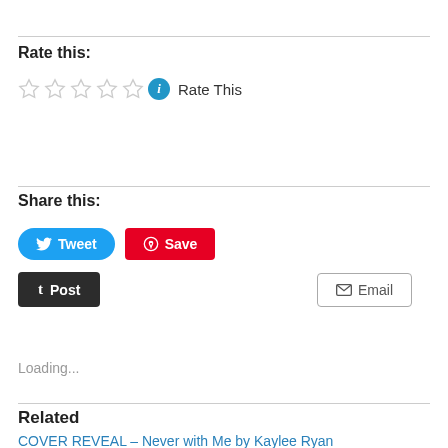Rate this:
[Figure (other): Five empty star rating icons followed by an info button and 'Rate This' text]
Share this:
[Figure (infographic): Social share buttons: Tweet (Twitter), Save (Pinterest), Post (Tumblr), Email]
Loading...
Related
COVER REVEAL – Never with Me by Kaylee Ryan
08/07/2022